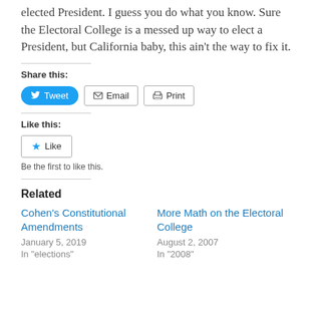elected President. I guess you do what you know. Sure the Electoral College is a messed up way to elect a President, but California baby, this ain't the way to fix it.
Share this:
[Figure (other): Share buttons: Tweet, Email, Print]
Like this:
[Figure (other): Like button]
Be the first to like this.
Related
Cohen's Constitutional Amendments
January 5, 2019
In "elections"
More Math on the Electoral College
August 2, 2007
In "2008"